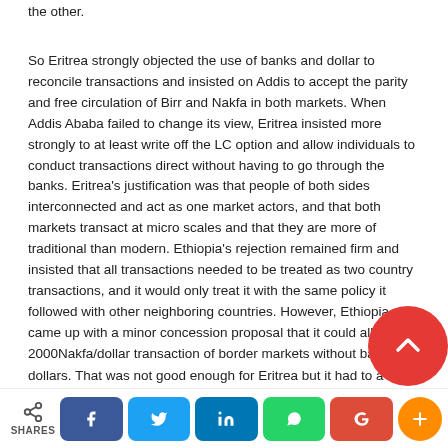the other.
So Eritrea strongly objected the use of banks and dollar to reconcile transactions and insisted on Addis to accept the parity and free circulation of Birr and Nakfa in both markets. When Addis Ababa failed to change its view, Eritrea insisted more strongly to at least write off the LC option and allow individuals to conduct transactions direct without having to go through the banks. Eritrea's justification was that people of both sides interconnected and act as one market actors, and that both markets transact at micro scales and that they are more of traditional than modern. Ethiopia's rejection remained firm and insisted that all transactions needed to be treated as two country transactions, and it would only treat it with the same policy it followed with other neighboring countries. However, Ethiopia came up with a minor concession proposal that it could allow 2000Nakfa/dollar transaction of border markets without bank dollars. That was not good enough for Eritrea but it had to a
SHARES [social share buttons: Facebook, Twitter, LinkedIn, WhatsApp, Google, Plus]